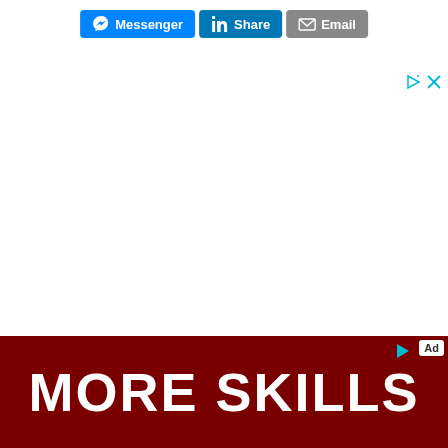[Figure (screenshot): Social share buttons row: Messenger (blue), LinkedIn Share (blue), Email (gray)]
[Figure (screenshot): Ad close/indicator icons top right (small play/triangle icon and X icon in teal/cyan)]
[Figure (screenshot): Bottom advertisement banner with dark red background showing 'More Skills' text in white bold uppercase, with Ad badge and play icon top right]